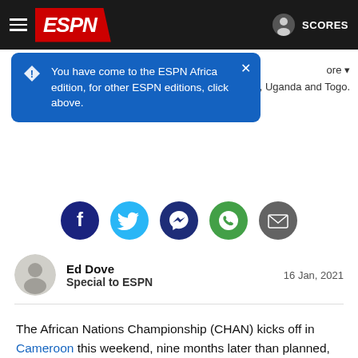ESPN
You have come to the ESPN Africa edition, for other ESPN editions, click above.
ore ▾
da, Uganda and Togo.
[Figure (infographic): Row of five social sharing icons: Facebook (dark blue circle), Twitter (light blue circle), Messenger (dark blue circle), WhatsApp (green circle), Email (grey circle)]
Ed Dove
Special to ESPN
16 Jan, 2021
The African Nations Championship (CHAN) kicks off in Cameroon this weekend, nine months later than planned, with the continent's best home-based players contesting the biennial tournament.
As has often been the case in recent years, the Confederation of African Football (CAF) -- currently without a permanent